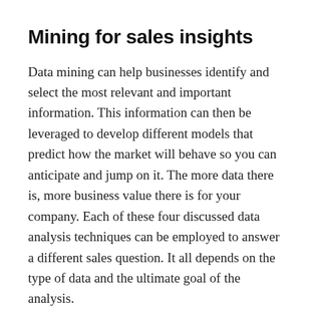Mining for sales insights
Data mining can help businesses identify and select the most relevant and important information. This information can then be leveraged to develop different models that predict how the market will behave so you can anticipate and jump on it. The more data there is, more business value there is for your company. Each of these four discussed data analysis techniques can be employed to answer a different sales question. It all depends on the type of data and the ultimate goal of the analysis.
Dozens of companies provide data mining tools and services, either through proprietary software or open-source efforts. Rarely does a single data